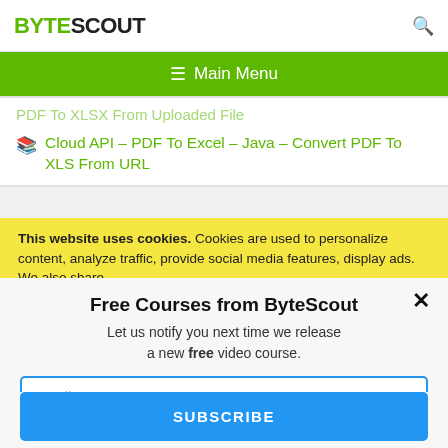BYTESCOUT
☰ Main Menu
PDF To XLSX From Uploaded File
Cloud API – PDF To Excel – Java – Convert PDF To XLS From URL
This website uses cookies. Cookies are used to personalize content, analyze traffic, provide social media features, display ads. We also share
Free Courses from ByteScout
Let us notify you next time we release a new free video course.
Email
SUBSCRIBE